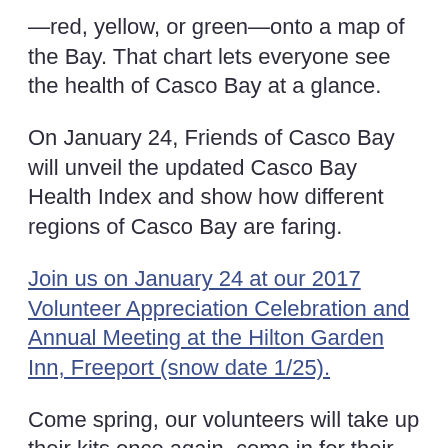—red, yellow, or green—onto a map of the Bay. That chart lets everyone see the health of Casco Bay at a glance.
On January 24, Friends of Casco Bay will unveil the updated Casco Bay Health Index and show how different regions of Casco Bay are faring.
Join us on January 24 at our 2017 Volunteer Appreciation Celebration and Annual Meeting at the Hilton Garden Inn, Freeport (snow date 1/25).
Come spring, our volunteers will take up their kits once again, come in for their individual Quality Assurance review, and